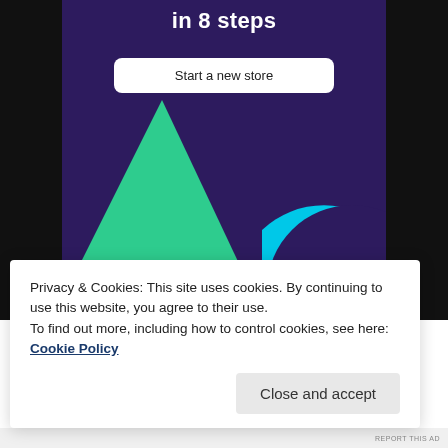in 8 steps
[Figure (illustration): Purple banner card with white bold text 'in 8 steps', a white rounded rectangle button labeled 'Start a new store', a green triangle shape and a cyan/blue circle arc shape on a dark purple (#2d1b5e) background.]
Privacy & Cookies: This site uses cookies. By continuing to use this website, you agree to their use.
To find out more, including how to control cookies, see here: Cookie Policy
Close and accept